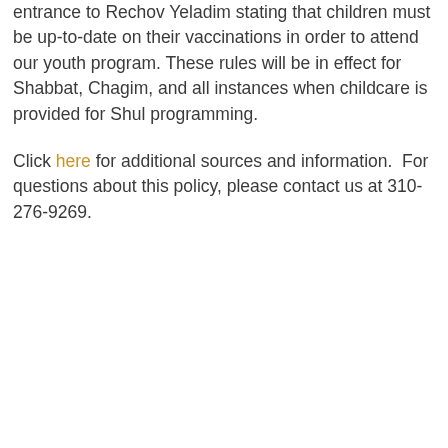entrance to Rechov Yeladim stating that children must be up-to-date on their vaccinations in order to attend our youth program. These rules will be in effect for Shabbat, Chagim, and all instances when childcare is provided for Shul programming.
Click here for additional sources and information.  For questions about this policy, please contact us at 310-276-9269.